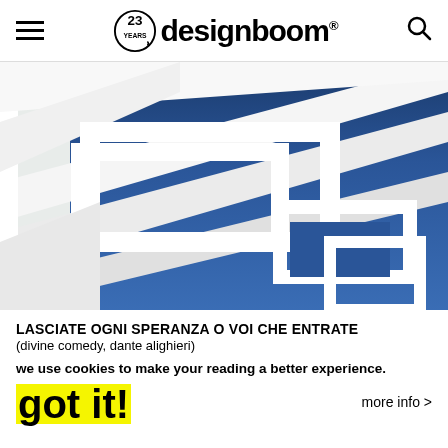designboom® — 23 YEARS
[Figure (photo): Close-up architectural photo of white geometric building facade with sharp angular concrete beams against a deep blue sky]
LASCIATE OGNI SPERANZA O VOI CHE ENTRATE
(divine comedy, dante alighieri)
we use cookies to make your reading a better experience.
got it!
more info >